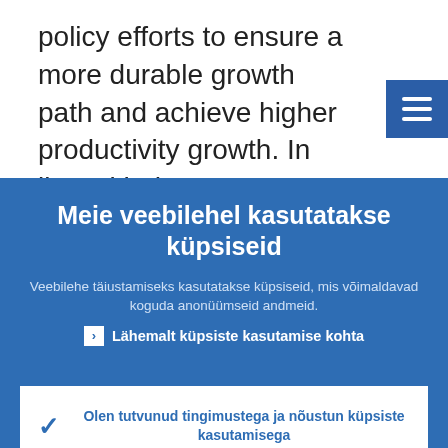policy efforts to ensure a more durable growth path and achieve higher productivity growth. In line with the country-specific recommendations issued by the Council of...
[Figure (screenshot): Blue hamburger/menu icon button in top right corner]
Meie veebilehel kasutatakse küpsiseid
Veebilehe täiustamiseks kasutatakse küpsiseid, mis võimaldavad koguda anonüümseid andmeid.
❯ Lähemalt küpsiste kasutamise kohta
✓ Olen tutvunud tingimustega ja nõustun küpsiste kasutamisega
✕ Ei nõustu küpsiste kasutamisega